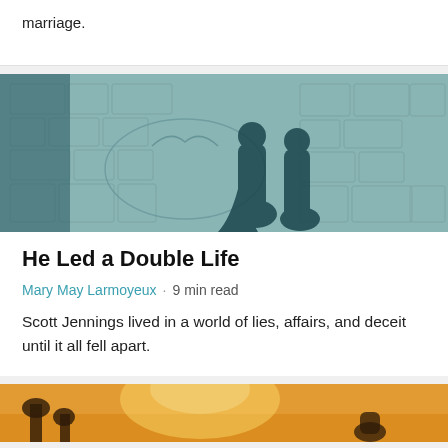marriage.
[Figure (photo): Shadow of two people kissing on a stone cobblestone pavement with a heart drawn in the center, teal-tinted photo]
He Led a Double Life
Mary May Larmoyeux · 9 min read
Scott Jennings lived in a world of lies, affairs, and deceit until it all fell apart.
[Figure (photo): Warm sunset photo with silhouettes of people outdoors, partially visible at bottom of page]